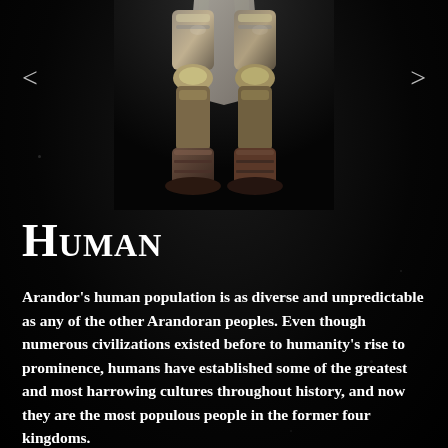[Figure (illustration): Lower half of an armored fantasy warrior character standing against a dark background, showing legs with armor plating, leather boots, and a cloth skirt/kilt. Dark atmospheric background.]
Human
Arandor's human population is as diverse and unpredictable as any of the other Arandoran peoples. Even though numerous civilizations existed before to humanity's rise to prominence, humans have established some of the greatest and most harrowing cultures throughout history, and now they are the most populous people in the former four kingdoms.